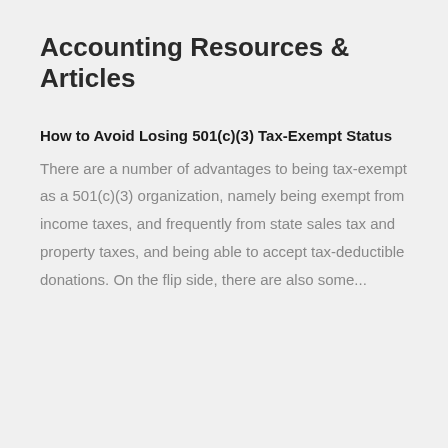Accounting Resources & Articles
How to Avoid Losing 501(c)(3) Tax-Exempt Status
There are a number of advantages to being tax-exempt as a 501(c)(3) organization, namely being exempt from income taxes, and frequently from state sales tax and property taxes, and being able to accept tax-deductible donations. On the flip side, there are also some...